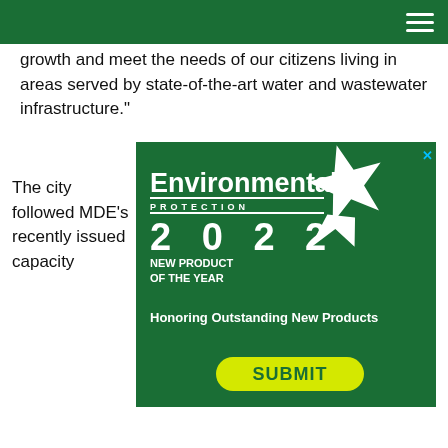growth and meet the needs of our citizens living in areas served by state-of-the-art water and wastewater infrastructure."
The city followed MDE's recently issued capacity
[Figure (illustration): Environmental Protection 2022 New Product of the Year advertisement on green background with star graphic. Text reads: Environmental Protection, PROTECTION, 2022, NEW PRODUCT OF THE YEAR, Honoring Outstanding New Products, SUBMIT YOUR ENTRY TODAY!]